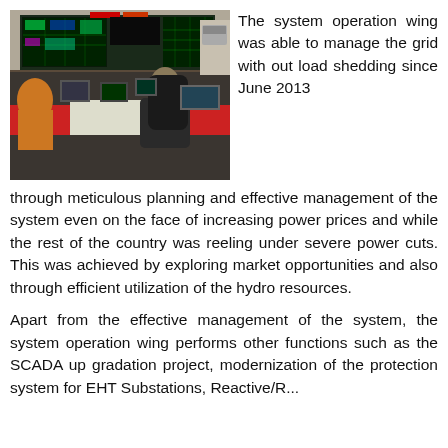[Figure (photo): A power grid control room with multiple large display monitors showing electrical grid diagrams and system data. Operators are seated at workstations with computers. The room has green-lit screens on the wall and several desktop monitors.]
The system operation wing was able to manage the grid with out load shedding since June 2013 through meticulous planning and effective management of the system even on the face of increasing power prices and while the rest of the country was reeling under severe power cuts. This was achieved by exploring market opportunities and also through efficient utilization of the hydro resources.
Apart from the effective management of the system, the system operation wing performs other functions such as the SCADA up gradation project, modernization of the protection system for EHT Substations, Reactive/R...